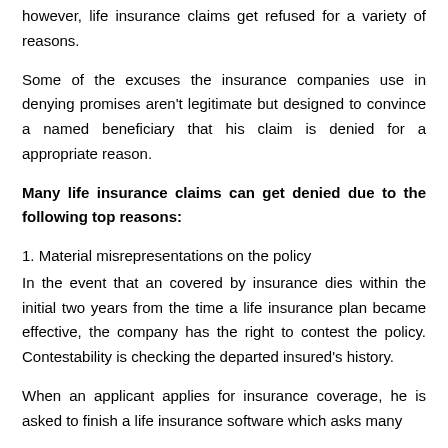however, life insurance claims get refused for a variety of reasons.
Some of the excuses the insurance companies use in denying promises aren't legitimate but designed to convince a named beneficiary that his claim is denied for a appropriate reason.
Many life insurance claims can get denied due to the following top reasons:
1. Material misrepresentations on the policy
In the event that an covered by insurance dies within the initial two years from the time a life insurance plan became effective, the company has the right to contest the policy. Contestability is checking the departed insured's history.
When an applicant applies for insurance coverage, he is asked to finish a life insurance software which asks many